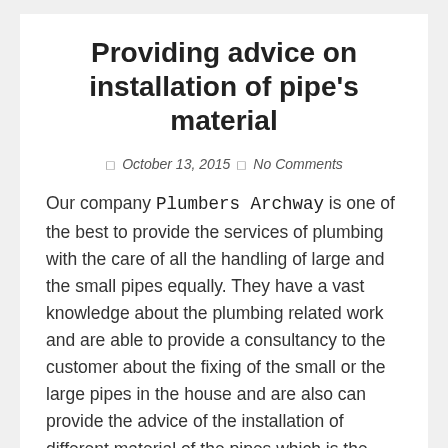Providing advice on installation of pipe's material
October 13, 2015   No Comments
Our company Plumbers Archway is one of the best to provide the services of plumbing with the care of all the handling of large and the small pipes equally. They have a vast knowledge about the plumbing related work and are able to provide a consultancy to the customer about the fixing of the small or the large pipes in the house and are also can provide the advice of the installation of different material of the pipes which is the best for the particular house. This is the reason that our company Plumber Archway are in demand and people always want to get the services of our company plumbers. The demand of our company plumber is also die toe the reason that they provide free consultancy and advices along with the providing of the best services. |the work of plumbing